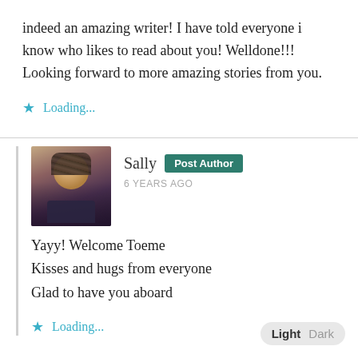indeed an amazing writer! I have told everyone i know who likes to read about you! Welldone!!! Looking forward to more amazing stories from you.
Loading...
Sally  Post Author
6 YEARS AGO
Yayy! Welcome Toeme
Kisses and hugs from everyone
Glad to have you aboard
Loading...